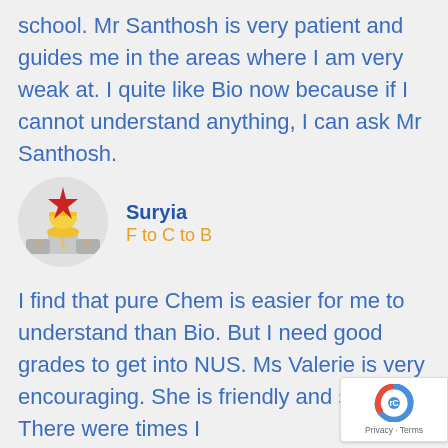school. Mr Santhosh is very patient and guides me in the areas where I am very weak at. I quite like Bio now because if I cannot understand anything, I can ask Mr Santhosh.
[Figure (illustration): Profile avatar showing a trophy/medal emoji with a red star on top, representing a first-place achievement badge.]
Suryia
F to C to B
I find that pure Chem is easier for me to understand than Bio. But I need good grades to get into NUS. Ms Valerie is very encouraging. She is friendly and strict. There were times I